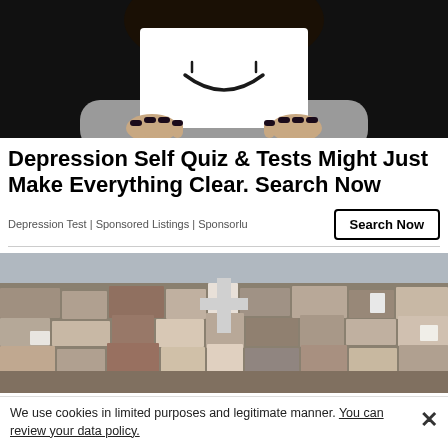[Figure (photo): Person holding a white card with a smiley face drawn on it, covering their lower face. Dark background, person wearing grey shirt, dark nail polish.]
Depression Self Quiz & Tests Might Just Make Everything Clear. Search Now
Depression Test | Sponsored Listings | Sponsorlu
[Figure (photo): Aerial view of a densely packed town or city with many rooftops, a church cross visible in the middle, muted colors.]
We use cookies in limited purposes and legitimate manner. You can review your data policy.